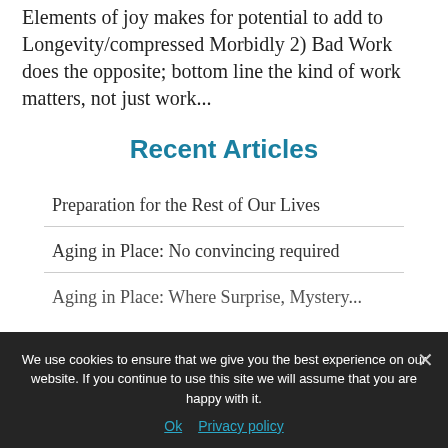Stimulating → Degree of control/choice → Elements of joy makes for potential to add to Longevity/compressed Morbidly 2) Bad Work does the opposite; bottom line the kind of work matters, not just work...
Recent Articles
Preparation for the Rest of Our Lives
Aging in Place: No convincing required
Aging in Place: Where Surprise, Mystery...
We use cookies to ensure that we give you the best experience on our website. If you continue to use this site we will assume that you are happy with it.
Ok  Privacy policy